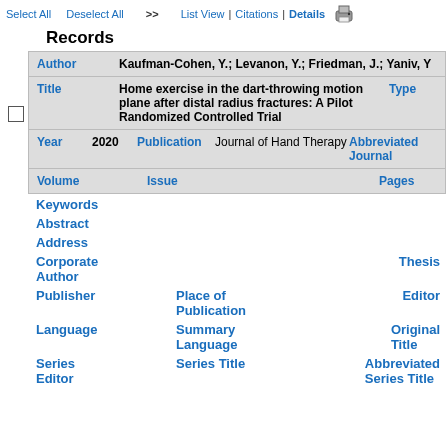Select All  Deselect All  >>  List View | Citations | Details
Records
| Field | Value | Field | Value |
| --- | --- | --- | --- |
| Author | Kaufman-Cohen, Y.; Levanon, Y.; Friedman, J.; Yaniv, Y... |  |  |
| Title | Home exercise in the dart-throwing motion plane after distal radius fractures: A Pilot Randomized Controlled Trial | Type |  |
| Year | 2020 | Publication | Journal of Hand Therapy | Abbreviated Journal |  |
| Volume |  | Issue |  | Pages |  |
| Keywords |  |  |  |
| Abstract |  |  |  |
| Address |  |  |  |
| Corporate Author |  |  | Thesis |  |
| Publisher |  | Place of Publication |  | Editor |  |
| Language |  | Summary Language |  | Original Title |  |
| Series Editor |  | Series Title |  | Abbreviated Series Title |  |